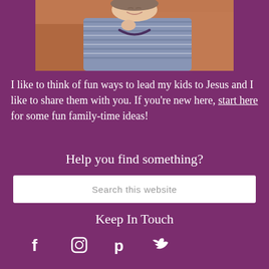[Figure (photo): A smiling woman sitting on an orange/terracotta couch, wearing a striped blue and grey top with a dark necklace, laughing and holding her hand near her chin.]
I like to think of fun ways to lead my kids to Jesus and I like to share them with you. If you're new here, start here for some fun family-time ideas!
Help you find something?
Search this website
Keep In Touch